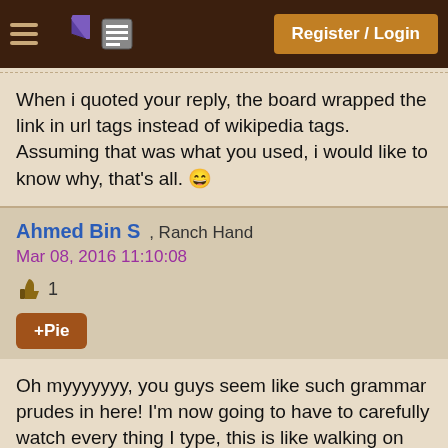Register / Login
When i quoted your reply, the board wrapped the link in url tags instead of wikipedia tags. Assuming that was what you used, i would like to know why, that's all. 😄
Ahmed Bin S , Ranch Hand
Mar 08, 2016 11:10:08
👍 1
+Pie
Oh myyyyyyy, you guys seem like such grammar prudes in here! I'm now going to have to carefully watch every thing I type, this is like walking on eggshells!

At least my excuse is that I went through education without once being taught grammar, incredible as it may sound! Grammar seems to have